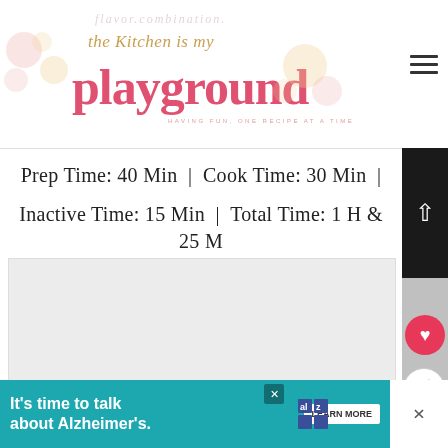the Kitchen is my playground — HAVING FUN, ONE RECIPE AT A TIME
Prep Time: 40 Min  |  Cook Time: 30 Min  |  Inactive Time: 15 Min  |  Total Time: 1 H & 25 M
[Figure (photo): Blank/placeholder image area with carousel dots]
WHAT'S NEXT → Marshmallow Chocolate...
It's time to talk about Alzheimer's.  LEARN MORE